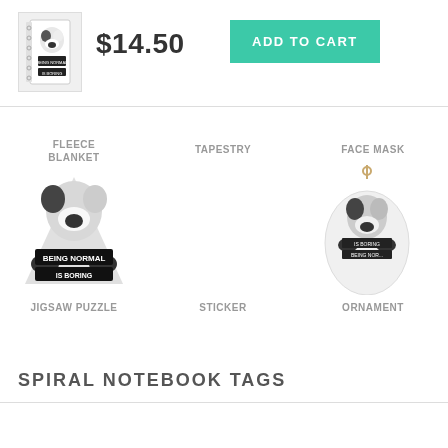[Figure (screenshot): Small product thumbnail of spiral notebook with Boston Terrier illustration]
$14.50
ADD TO CART
FLEECE BLANKET
[Figure (illustration): Boston Terrier holding sign reading BEING NORMAL IS BORING - jigsaw puzzle product image]
TAPESTRY
STICKER
[Figure (illustration): Boston Terrier holding sign on oval ceramic ornament - ornament product image]
FACE MASK
JIGSAW PUZZLE
ORNAMENT
SPIRAL NOTEBOOK TAGS